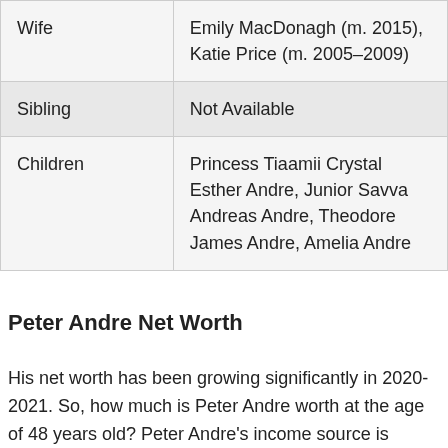|  |  |
| --- | --- |
| Wife | Emily MacDonagh (m. 2015), Katie Price (m. 2005–2009) |
| Sibling | Not Available |
| Children | Princess Tiaamii Crystal Esther Andre, Junior Savva Andreas Andre, Theodore James Andre, Amelia Andre |
Peter Andre Net Worth
His net worth has been growing significantly in 2020-2021. So, how much is Peter Andre worth at the age of 48 years old? Peter Andre's income source is mostly from being a successful Singer. He is from United Kingdom. We have estimated Peter Andre's net worth, money, salary, income, and assets.